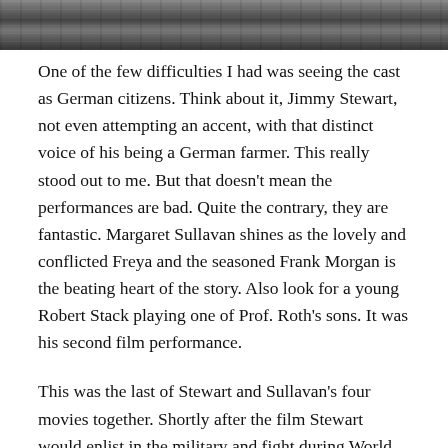[Figure (photo): Black and white photograph showing people gathered around a table, partially cropped at top of page]
One of the few difficulties I had was seeing the cast as German citizens. Think about it, Jimmy Stewart, not even attempting an accent, with that distinct voice of his being a German farmer. This really stood out to me. But that doesn't mean the performances are bad. Quite the contrary, they are fantastic. Margaret Sullavan shines as the lovely and conflicted Freya and the seasoned Frank Morgan is the beating heart of the story. Also look for a young Robert Stack playing one of Prof. Roth's sons. It was his second film performance.
This was the last of Stewart and Sullavan's four movies together. Shortly after the film Stewart would enlist in the military and fight during World War 2. Sullavan made only five more movies before sadly being engulfed by personal